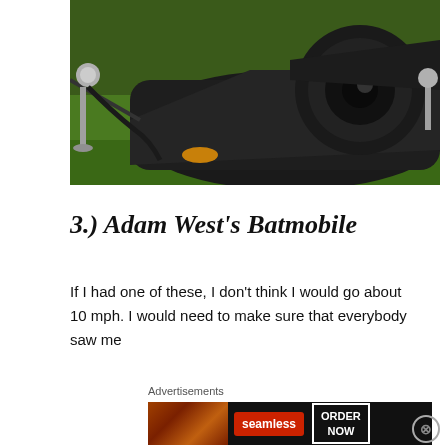[Figure (photo): Close-up photograph of a dark grey/black Batmobile on green grass, with a velvet rope barrier visible on the left side. The car features a prominent round jet turbine engine at the rear.]
3.) Adam West's Batmobile
If I had one of these, I don't think I would go about 10 mph. I would need to make sure that everybody saw me
Advertisements
[Figure (photo): Seamless food delivery advertisement banner showing pizza on the left, the Seamless logo in red, and an ORDER NOW button on the right, on a dark background.]